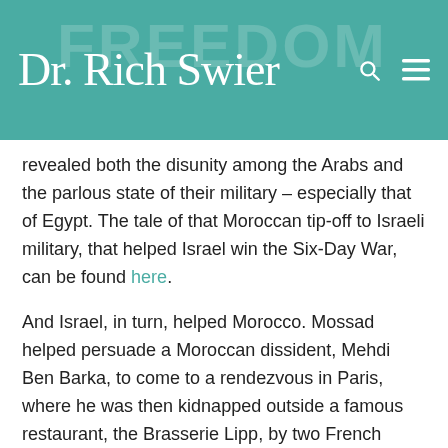Dr. Rich Swier
revealed both the disunity among the Arabs and the parlous state of their military – especially that of Egypt. The tale of that Moroccan tip-off to Israeli military, that helped Israel win the Six-Day War, can be found here.
And Israel, in turn, helped Morocco. Mossad helped persuade a Moroccan dissident, Mehdi Ben Barka, to come to a rendezvous in Paris, where he was then kidnapped outside a famous restaurant, the Brasserie Lipp, by two French policemen working for the Moroccans; Ben Barka was never seen again.